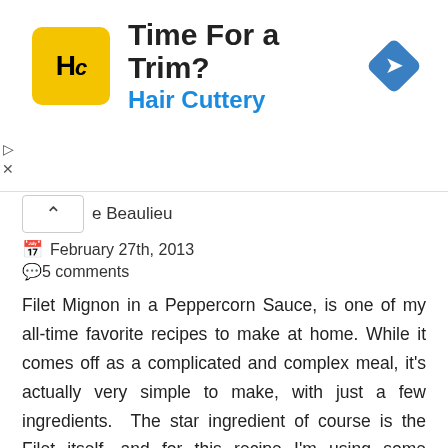[Figure (screenshot): Advertisement banner for Hair Cuttery with yellow logo, title 'Time For a Trim?', subtitle 'Hair Cuttery', and a blue diamond arrow icon on the right]
e Beaulieu
February 27th, 2013
5 comments
Filet Mignon in a Peppercorn Sauce, is one of my all-time favorite recipes to make at home. While it comes off as a complicated and complex meal, it's actually very simple to make, with just a few ingredients.  The star ingredient of course is the Filet itself, and for this recipe I'm using some wonderful steaks from Certified Steak and Seafood.  I'm happy to be working with such a great ingredient and I hope you will love them as much as